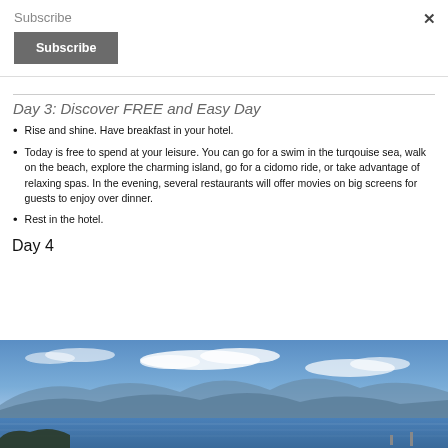Subscribe
Subscribe (button)
Day 3: Discover FREE and Easy Day
Rise and shine. Have breakfast in your hotel.
Today is free to spend at your leisure. You can go for a swim in the turqouise sea, walk on the beach, explore the charming island, go for a cidomo ride, or take advantage of relaxing spas. In the evening, several restaurants will offer movies on big screens for guests to enjoy over dinner.
Rest in the hotel.
Day 4
[Figure (photo): Panoramic landscape photo showing a blue sea, distant mountains, and partial cloudy sky — coastal island scenery.]